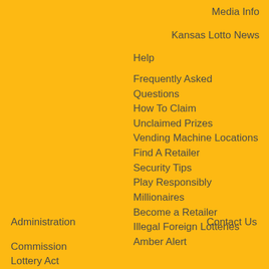Media Info
Kansas Lotto News
Help
Frequently Asked Questions
How To Claim
Unclaimed Prizes
Vending Machine Locations
Find A Retailer
Security Tips
Play Responsibly
Millionaires
Become a Retailer
Illegal Foreign Lotteries
Amber Alert
Administration
Contact Us
Commission
Lottery Act
Lottery Sales
Where the Money Goes
Economic Development